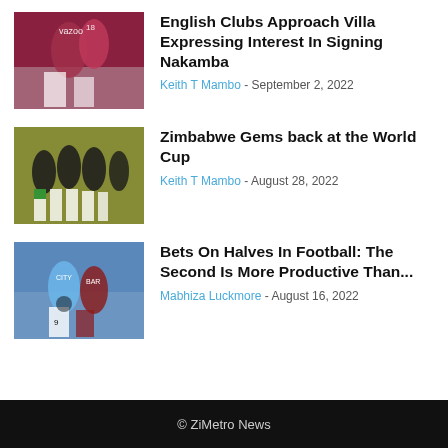[Figure (photo): Aston Villa football players celebrating on pitch]
English Clubs Approach Villa Expressing Interest In Signing Nakamba
Keith T Mambo - September 2, 2022
[Figure (photo): Zimbabwe Gems netball team celebrating]
Zimbabwe Gems back at the World Cup
Keith T Mambo - August 28, 2022
[Figure (photo): Manchester City and another team football players on pitch]
Bets On Halves In Football: The Second Is More Productive Than...
Mabhiza Luckmore - August 16, 2022
© ZiMetro News